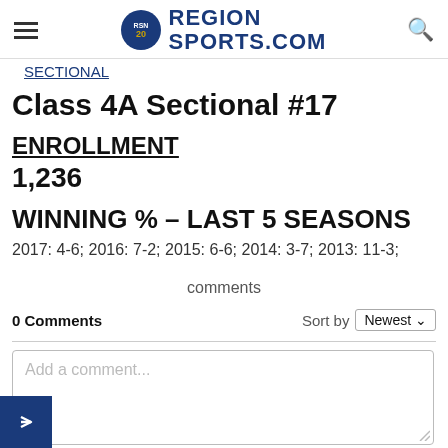RegionSports.Com
SECTIONAL
Class 4A Sectional #17
ENROLLMENT
1,236
WINNING % – LAST 5 SEASONS
2017: 4-6; 2016: 7-2; 2015: 6-6; 2014: 3-7; 2013: 11-3;
comments
0 Comments    Sort by Newest